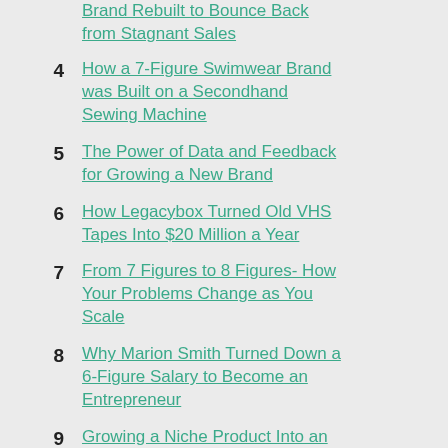Brand Rebuilt to Bounce Back from Stagnant Sales
4 How a 7-Figure Swimwear Brand was Built on a Secondhand Sewing Machine
5 The Power of Data and Feedback for Growing a New Brand
6 How Legacybox Turned Old VHS Tapes Into $20 Million a Year
7 From 7 Figures to 8 Figures- How Your Problems Change as You Scale
8 Why Marion Smith Turned Down a 6-Figure Salary to Become an Entrepreneur
9 Growing a Niche Product Into an